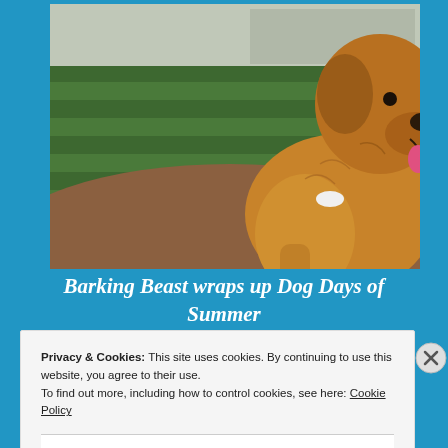[Figure (photo): A golden retriever dog sitting at a baseball field, viewed from the side, looking upward, wearing a bone-shaped tag. Green grass and dirt infield visible in background.]
Barking Beast wraps up Dog Days of Summer
Privacy & Cookies: This site uses cookies. By continuing to use this website, you agree to their use.
To find out more, including how to control cookies, see here: Cookie Policy
Close and accept